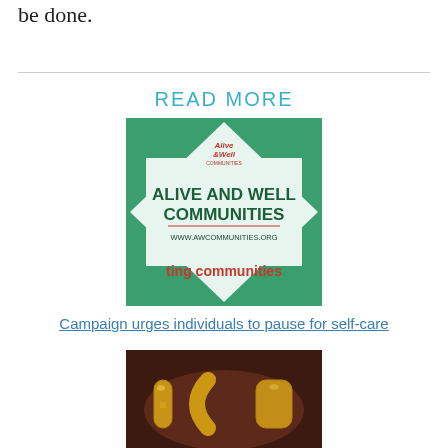be done.
READ MORE
[Figure (logo): Alive and Well Communities logo with green diamond border, red/green text reading ALIVE AND WELL COMMUNITIES, website www.awcommunities.org, and partial text 'ting communities' at bottom]
Campaign urges individuals to pause for self-care
[Figure (photo): Photo showing gold balloon letters spelling what appears to be 'HOW' against a dark/red background]